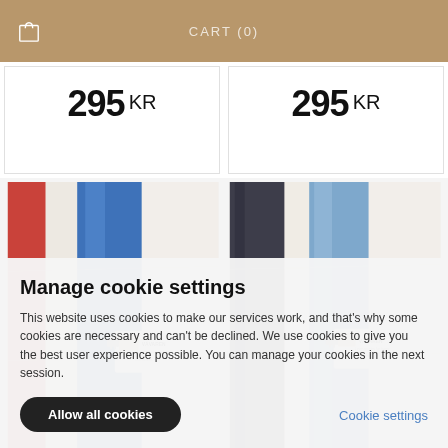CART (0)
295 KR
295 KR
[Figure (photo): Folded textile/towel with red and blue woven stripes and a Vävaren brand label]
[Figure (photo): Folded textile/towel with dark navy and light blue woven stripes and a Vävaren brand label]
Manage cookie settings
This website uses cookies to make our services work, and that's why some cookies are necessary and can't be declined. We use cookies to give you the best user experience possible. You can manage your cookies in the next session.
Allow all cookies
Cookie settings